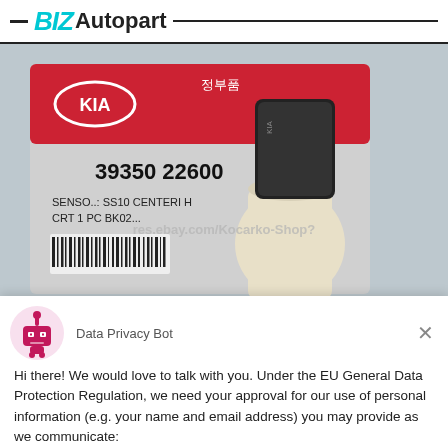BIZ Autopart
[Figure (photo): KIA original auto part (sensor, part number 39350 22600) in factory packaging with barcode label. Product shown against plastic bag background. Watermark text: res.ebay.com/Kocarko-Shop?]
Data Privacy Bot
Hi there! We would love to talk with you. Under the EU General Data Protection Regulation, we need your approval for our use of personal information (e.g. your name and email address) you may provide as we communicate:
Yes, I Accept
No, Not Now